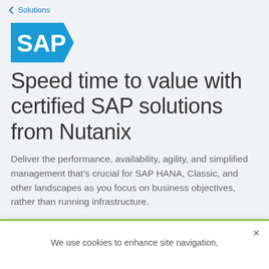Solutions
[Figure (logo): SAP logo — blue pentagon/chevron shape with white SAP text]
Speed time to value with certified SAP solutions from Nutanix
Deliver the performance, availability, agility, and simplified management that’s crucial for SAP HANA, Classic, and other landscapes as you focus on business objectives, rather than running infrastructure.
We use cookies to enhance site navigation,